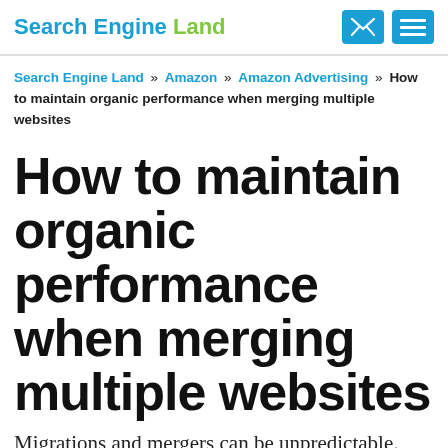Search Engine Land
Search Engine Land » Amazon » Amazon Advertising » How to maintain organic performance when merging multiple websites
How to maintain organic performance when merging multiple websites
Migrations and mergers can be unpredictable. Here's how to identify and